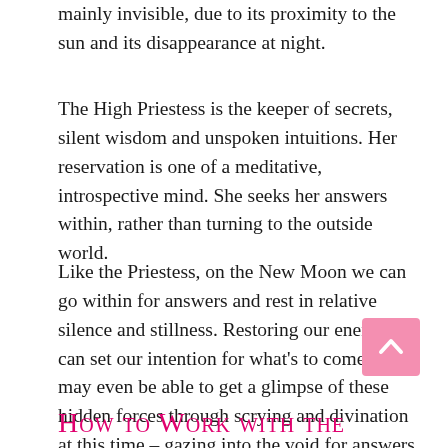mainly invisible, due to its proximity to the sun and its disappearance at night.
The High Priestess is the keeper of secrets, silent wisdom and unspoken intuitions. Her reservation is one of a meditative, introspective mind. She seeks her answers within, rather than turning to the outside world.
Like the Priestess, on the New Moon we can go within for answers and rest in relative silence and stillness. Restoring our energy, we can set our intention for what's to come. We may even be able to get a glimpse of these hidden forces through scrying and divination at this time – gazing into the void for answers.
How to Work with the